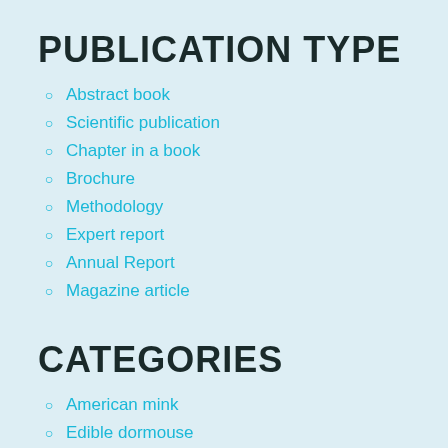PUBLICATION TYPE
Abstract book
Scientific publication
Chapter in a book
Brochure
Methodology
Expert report
Annual Report
Magazine article
CATEGORIES
American mink
Edible dormouse
Eurasian lynx
Eurasian otter